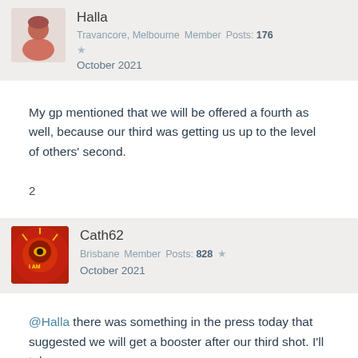Halla
Travancore, Melbourne  Member  Posts: 176
★
October 2021
My gp mentioned that we will be offered a fourth as well, because our third was getting us up to the level of others' second.
2
Cath62
Brisbane  Member  Posts: 828  ★
October 2021
@Halla there was something in the press today that suggested we will get a booster after our third shot. I'll take